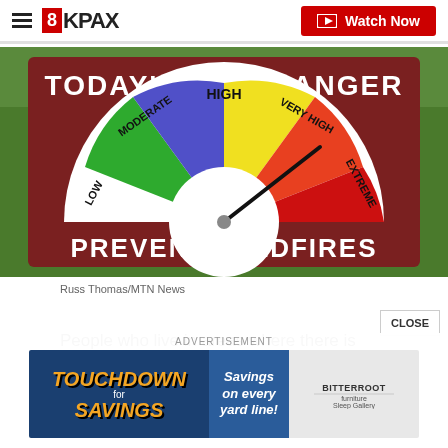8KPAX — Watch Now
[Figure (photo): A fire danger sign reading 'TODAY'S FIRE DANGER' with a semicircular gauge showing LOW, MODERATE, HIGH, VERY HIGH, EXTREME levels. The needle points toward VERY HIGH/EXTREME. Text at bottom reads 'PREVENT WILDFIRES'.]
Russ Thomas/MTN News
People who live in areas where there is only one w... out should plan ahead and be ready for...
[Figure (photo): Advertisement banner: TOUCHDOWN SAVINGS for — Savings on every yard line! Bitterroot furniture and Sleep Gallery logo on right.]